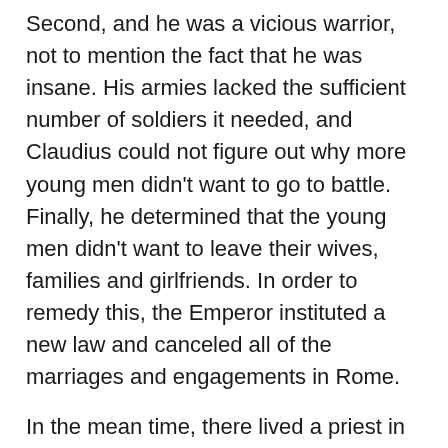Second, and he was a vicious warrior, not to mention the fact that he was insane. His armies lacked the sufficient number of soldiers it needed, and Claudius could not figure out why more young men didn't want to go to battle. Finally, he determined that the young men didn't want to leave their wives, families and girlfriends. In order to remedy this, the Emperor instituted a new law and canceled all of the marriages and engagements in Rome.
In the mean time, there lived a priest in Rome by the name of Valentine. He did not believe in the Emperor's new law, and he refused to abide by it. He continued to perform wedding ceremonies in secret. He lived in constant fear that he would be caught by Emperor Claudius' soldiers, but he persisted in doing what he knew was right. Finally, the day did come when Bishop Valentine was caught uniting a man and a woman in the bonds of holy matrimony. The